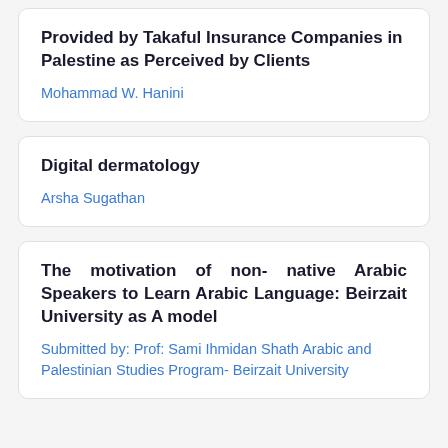Provided by Takaful Insurance Companies in Palestine as Perceived by Clients
Mohammad W. Hanini
Digital dermatology
Arsha Sugathan
The motivation of non- native Arabic Speakers to Learn Arabic Language: Beirzait University as A model
Submitted by: Prof: Sami Ihmidan Shath Arabic and Palestinian Studies Program- Beirzait University